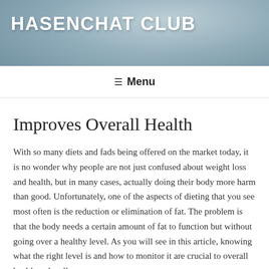HASENCHAT CLUB
≡ Menu
Improves Overall Health
With so many diets and fads being offered on the market today, it is no wonder why people are not just confused about weight loss and health, but in many cases, actually doing their body more harm than good. Unfortunately, one of the aspects of dieting that you see most often is the reduction or elimination of fat. The problem is that the body needs a certain amount of fat to function but without going over a healthy level. As you will see in this article, knowing what the right level is and how to monitor it are crucial to overall health and wellness.